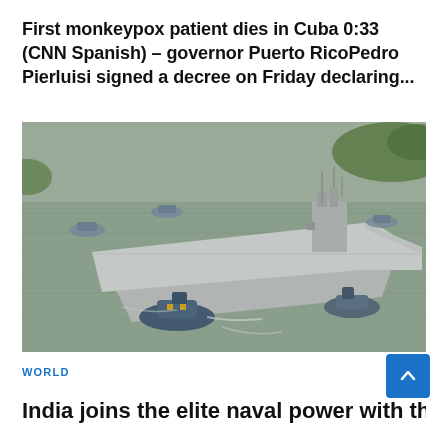First monkeypox patient dies in Cuba 0:33 (CNN Spanish) – governor Puerto RicoPedro Pierluisi signed a decree on Friday declaring...
[Figure (photo): Aerial photo of a large aircraft carrier ship being guided by smaller tugboats through a wide grey waterway, surrounded by green tree-lined shores.]
WORLD
India joins the elite naval power with the